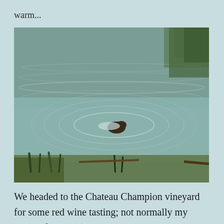warm...
[Figure (photo): A dog swimming in a pond or lake surrounded by calm rippling water, with green vegetation visible at the edges and trees reflected in the background.]
We headed to the Chateau Champion vineyard for some red wine tasting; not normally my tipple of choice (give me white any day; okay,